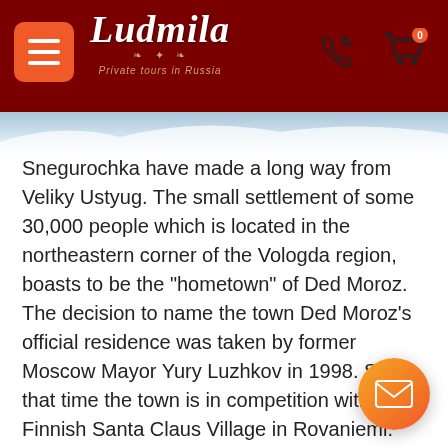Ludmila — Private tours in Russia
[Figure (photo): Snowy winter scene, partial view at top of page]
Snegurochka have made a long way from Veliky Ustyug. The small settlement of some 30,000 people which is located in the northeastern corner of the Vologda region, boasts to be the "hometown" of Ded Moroz.
The decision to name the town Ded Moroz's official residence was taken by former Moscow Mayor Yury Luzhkov in 1998. Since that time the town is in competition with the Finnish Santa Claus Village in Rovaniemi.
A figure akin to Santa Claus in the West, Ded Moroz (or Father Frost) brings presents to children on New Year's Eve. At Christmas celebrations he is accompanied by Snegurochka (or Snow Maiden), his